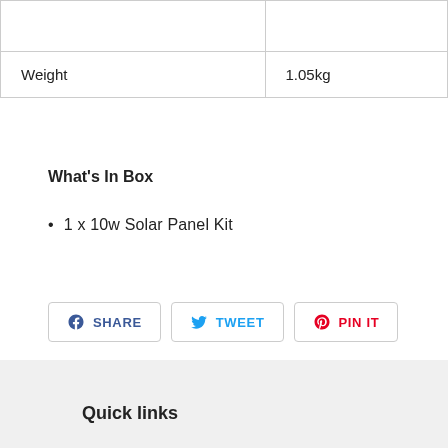|  |  |
| Weight | 1.05kg |
What's In Box
1 x 10w Solar Panel Kit
SHARE   TWEET   PIN IT
Quick links